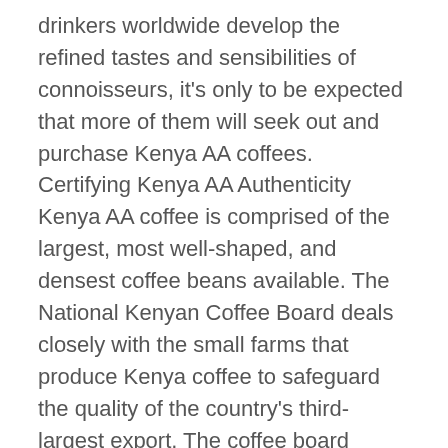drinkers worldwide develop the refined tastes and sensibilities of connoisseurs, it's only to be expected that more of them will seek out and purchase Kenya AA coffees. Certifying Kenya AA Authenticity Kenya AA coffee is comprised of the largest, most well-shaped, and densest coffee beans available. The National Kenyan Coffee Board deals closely with the small farms that produce Kenya coffee to safeguard the quality of the country's third-largest export. The coffee board ensures that all coffee farmers are kept up-to-date and knowledgeable on the agricultural aspects of their work. Kenya AA coffee is held to stringent standards of quality inspection to ensure the presence of the much prized aromatic oils that are essential to the production of the smells and flavors enjoyed by connoisseurs everywhere. As part of these